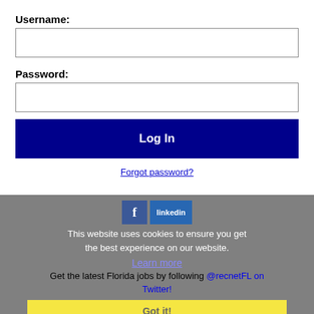Username:
Password:
Log In
Forgot password?
[Figure (screenshot): Gray footer section with social media icons (Facebook and LinkedIn), cookie consent message, Learn more link, Florida jobs text, Got it! button, and Daytona Beach RSS job feeds link]
This website uses cookies to ensure you get the best experience on our website.
Learn more
Get the latest Florida jobs by following @recnetFL on Twitter!
Got it!
Daytona Beach RSS job feeds